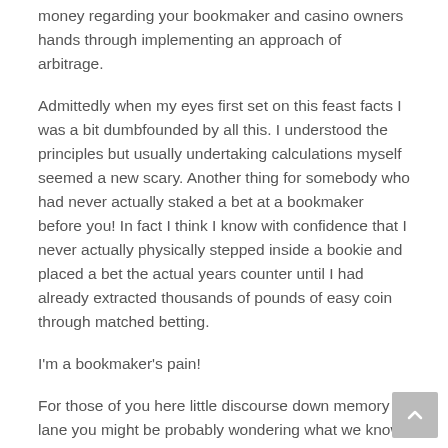money regarding your bookmaker and casino owners hands through implementing an approach of arbitrage.
Admittedly when my eyes first set on this feast facts I was a bit dumbfounded by all this. I understood the principles but usually undertaking calculations myself seemed a new scary. Another thing for somebody who had never actually staked a bet at a bookmaker before you! In fact I think I know with confidence that I never actually physically stepped inside a bookie and placed a bet the actual years counter until I had already extracted thousands of pounds of easy coin through matched betting.
I'm a bookmaker's pain!
For those of you here little discourse down memory lane you might be probably wondering what we know I'm preaching about when I raise the idea of matched poker?